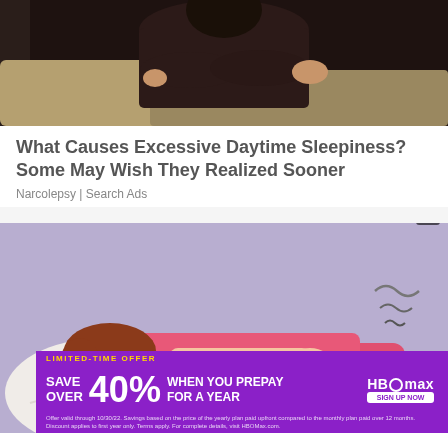[Figure (photo): Photo of a person in dark clothing sitting on a sofa with arms crossed, appearing drowsy or asleep]
What Causes Excessive Daytime Sleepiness? Some May Wish They Realized Sooner
Narcolepsy | Search Ads
[Figure (illustration): Cartoon illustration of a person sleeping on a pillow with a pink blanket on a purple background, with an HBO Max advertisement overlay at the bottom offering 'SAVE OVER 40% WHEN YOU PREPAY FOR A YEAR']